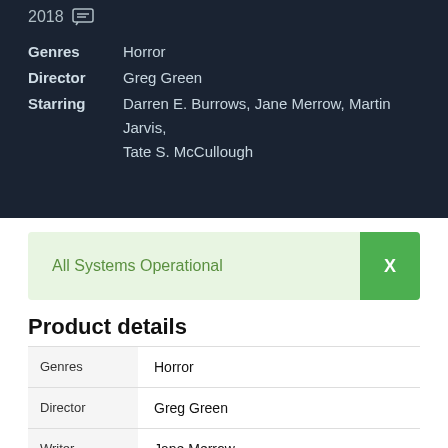2018
Genres   Horror
Director   Greg Green
Starring   Darren E. Burrows, Jane Merrow, Martin Jarvis, Tate S. McCullough
All Systems Operational  X
Product details
|  |  |
| --- | --- |
| Genres | Horror |
| Director | Greg Green |
| Writer | Jane Merrow |
| Stars | Darren E. Burrows, Jane Merrow, Martin Jarvis, Tate |